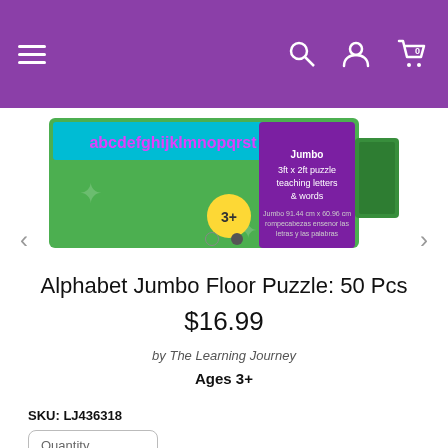Navigation header with menu, search, account, and cart icons
[Figure (photo): Alphabet Jumbo Floor Puzzle box — green box with alphabet strip along top reading 'abcdefghijklmnopqrst', purple band on right side reading 'Jumbo 3ft x 2ft puzzle teaching letters & words', yellow circle badge with '3+'. Product box shown at an angle.]
Alphabet Jumbo Floor Puzzle: 50 Pcs $16.99
by The Learning Journey
Ages 3+
SKU: LJ436318
Quantity